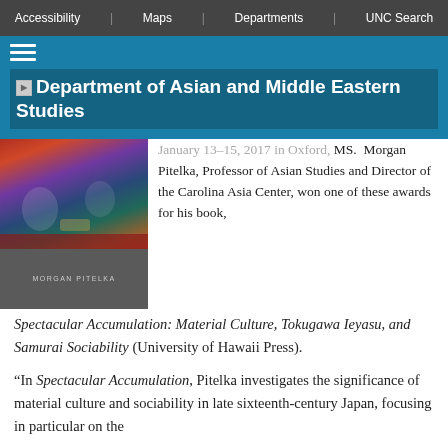Accessibility | Maps | Departments | UNC Search
Department of Asian and Middle Eastern Studies
[Figure (photo): Book cover image for Spectacular Accumulation by Morgan Pitelka, showing Japanese artwork on top and author name on gray background]
January 13–15, 2017 in Oxford, MS. Morgan Pitelka, Professor of Asian Studies and Director of the Carolina Asia Center, won one of these awards for his book,
Spectacular Accumulation: Material Culture, Tokugawa Ieyasu, and Samurai Sociability (University of Hawaii Press).
“In Spectacular Accumulation, Pitelka investigates the significance of material culture and sociability in late sixteenth-century Japan, focusing in particular on the